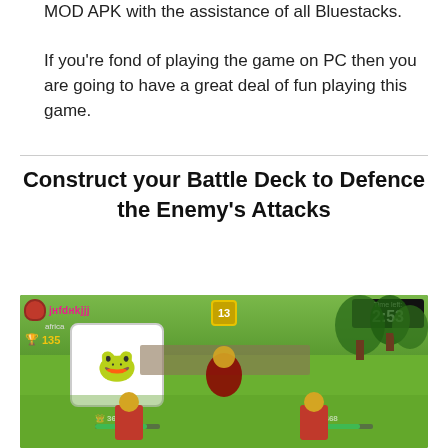MOD APK with the assistance of all Bluestacks.
If you're fond of playing the game on PC then you are going to have a great deal of fun playing this game.
Construct your Battle Deck to Defence the Enemy's Attacks
[Figure (screenshot): Screenshot of Clash Royale mobile game showing battle scene with player username 'jhfdnkjjj' from Africa with 135 trophies, a frog knight character card, time left 2:53, and health bars showing 3668 for both sides.]